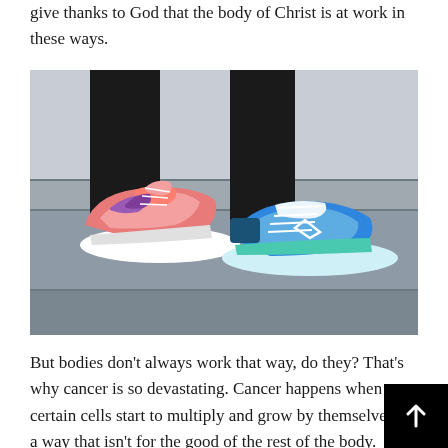give thanks to God that the body of Christ is at work in these ways.
[Figure (photo): Close-up photo of two feet wearing colorful athletic sneakers on concrete steps — one pink/coral sneaker on the left and one blue sneaker on the right, with black leggings visible above.]
But bodies don't always work that way, do they? That's why cancer is so devastating. Cancer happens when certain cells start to multiply and grow by themselves in a way that isn't for the good of the rest of the body. Cancer is when some individual cells of the body